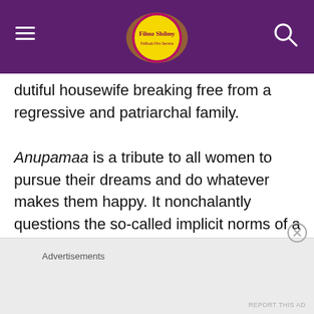Filmz Shilmy
dutiful housewife breaking free from a regressive and patriarchal family.
Anupamaa is a tribute to all women to pursue their dreams and do whatever makes them happy. It nonchalantly questions the so-called implicit norms of a wedding.
Shahid Kapoor
Advertisements